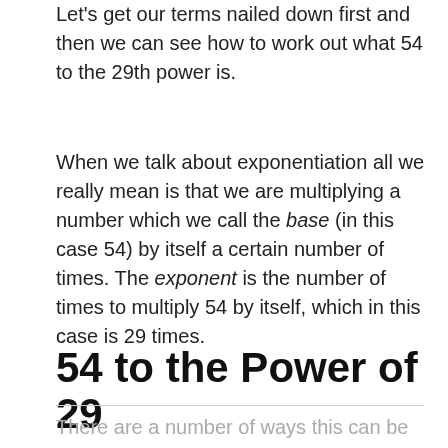Let's get our terms nailed down first and then we can see how to work out what 54 to the 29th power is.
When we talk about exponentiation all we really mean is that we are multiplying a number which we call the base (in this case 54) by itself a certain number of times. The exponent is the number of times to multiply 54 by itself, which in this case is 29 times.
54 to the Power of 29
There are a number of ways this can be expressed and the most common w...